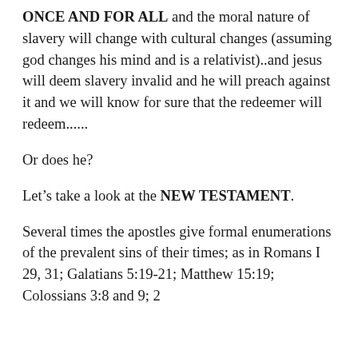ONCE AND FOR ALL and the moral nature of slavery will change with cultural changes (assuming god changes his mind and is a relativist)..and jesus will deem slavery invalid and he will preach against it and we will know for sure that the redeemer will redeem......
Or does he?
Let’s take a look at the NEW TESTAMENT.
Several times the apostles give formal enumerations of the prevalent sins of their times; as in Romans I 29, 31; Galatians 5:19-21; Matthew 15:19; Colossians 3:8 and 9; 2